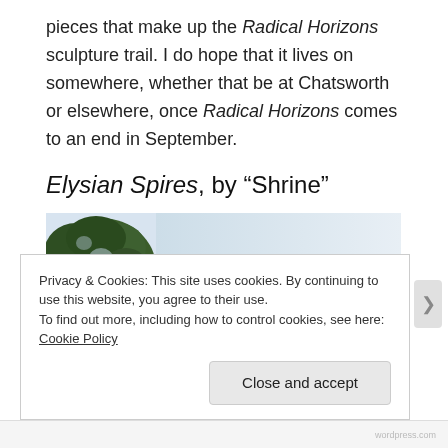pieces that make up the Radical Horizons sculpture trail. I do hope that it lives on somewhere, whether that be at Chatsworth or elsewhere, once Radical Horizons comes to an end in September.
Elysian Spires, by “Shrine”
[Figure (photo): Partial outdoor photo showing tree canopy against a light blue-grey sky, with the right portion of the image faded/light.]
Privacy & Cookies: This site uses cookies. By continuing to use this website, you agree to their use.
To find out more, including how to control cookies, see here: Cookie Policy
Close and accept